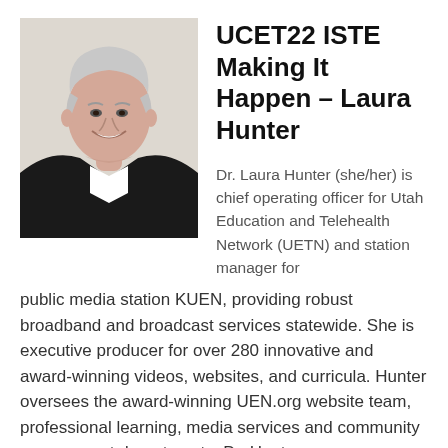[Figure (photo): Headshot of Dr. Laura Hunter, a woman with short white/gray hair, wearing a dark blazer, smiling, against a light background.]
UCET22 ISTE Making It Happen – Laura Hunter
Dr. Laura Hunter (she/her) is chief operating officer for Utah Education and Telehealth Network (UETN) and station manager for public media station KUEN, providing robust broadband and broadcast services statewide. She is executive producer for over 280 innovative and award-winning videos, websites, and curricula. Hunter oversees the award-winning UEN.org website team, professional learning, media services and community engagement departments. Dr. Hunter